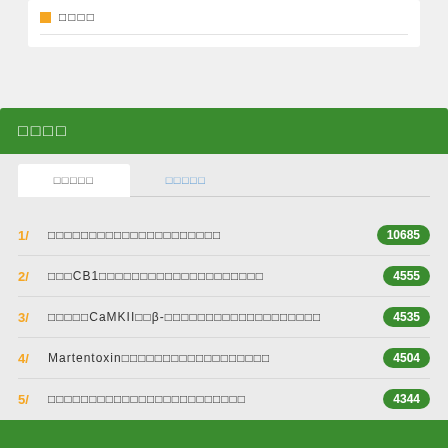□□□□
□□□□
□□□□□  □□□□□
1/ □□□□□□□□□□□□□□□□□□□□□ 10685
2/ □□□CB1□□□□□□□□□□□□□□□□□□□□ 4555
3/ □□□□□CaMKII□□β-□□□□□□□□□□□□□□□□□□□ 4535
4/ Martentoxin□□□□□□□□□□□□□□□□□□ 4504
5/ □□□□□□□□□□□□□□□□□□□□□□□□ 4344
更多